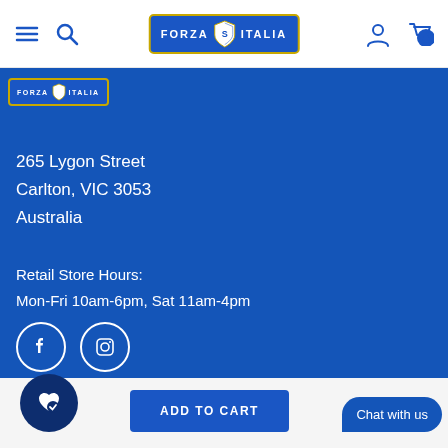Forza Italia - Navigation header with hamburger menu, search, logo, user icon, and cart (0)
[Figure (logo): Forza Italia store logo badge (small) in top-left of blue section]
265 Lygon Street
Carlton, VIC 3053
Australia
Retail Store Hours:
Mon-Fri 10am-6pm, Sat 11am-4pm
[Figure (illustration): Facebook and Instagram social media icons in white circles]
Information
Chat with us
ADD TO CART